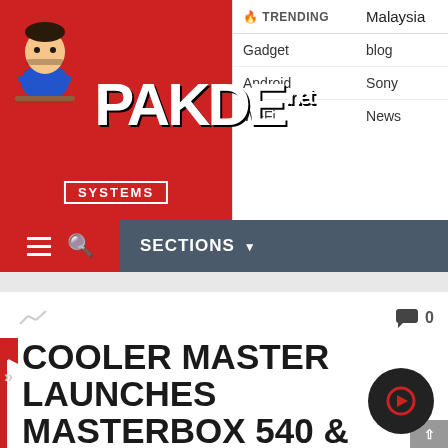[Figure (logo): PAKDE.NET SYSTEMS logo with cartoon mascot on red background]
| 🔥 TRENDING |  |
| --- | --- |
| Gadget | blog |
| Android | Sony |
| Wi-Fi | News |
SECTIONS
COOLER MASTER LAUNCHES MASTERBOX 540 & MASTERBOX MB600L V2 – LATEST ATX MODELS FROM THE